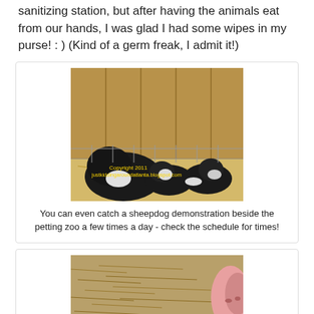sanitizing station, but after having the animals eat from our hands, I was glad I had some wipes in my purse! : ) (Kind of a germ freak, I admit it!)
[Figure (photo): Photo of black and white sheepdog puppies lying on straw/hay bedding inside a wooden pen with wire fencing. Watermark reads: Copyright 2011 justkiddingaroundatlanta.blogspot.com]
You can even catch a sheepdog demonstration beside the petting zoo a few times a day - check the schedule for times!
[Figure (photo): Partial photo showing hay/straw ground with a pink animal snout or body part visible at the right edge.]